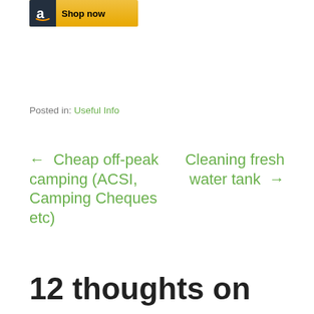[Figure (logo): Amazon 'Shop now' banner button with black 'a' logo on dark background and gold/yellow background with 'Shop now' text]
Posted in: Useful Info
← Cheap off-peak camping (ACSI, Camping Cheques etc)
Cleaning fresh water tank →
12 thoughts on